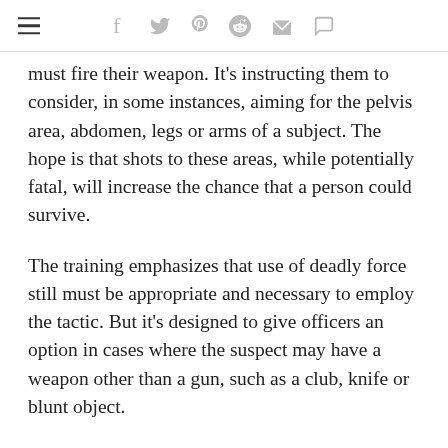≡  f  𝕥  p  ♂  ✉  💬
must fire their weapon. It's instructing them to consider, in some instances, aiming for the pelvis area, abdomen, legs or arms of a subject. The hope is that shots to these areas, while potentially fatal, will increase the chance that a person could survive.
The training emphasizes that use of deadly force still must be appropriate and necessary to employ the tactic. But it's designed to give officers an option in cases where the suspect may have a weapon other than a gun, such as a club, knife or blunt object.
Officers are still allowed to aim for center mass, if